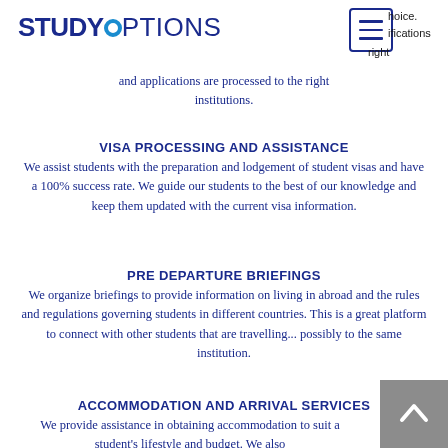STUDY OPTIONS
and applications are processed to the right institutions.
VISA PROCESSING AND ASSISTANCE
We assist students with the preparation and lodgement of student visas and have a 100% success rate. We guide our students to the best of our knowledge and keep them updated with the current visa information.
PRE DEPARTURE BRIEFINGS
We organize briefings to provide information on living in abroad and the rules and regulations governing students in different countries. This is a great platform to connect with other students that are travelling... possibly to the same institution.
ACCOMMODATION AND ARRIVAL SERVICES
We provide assistance in obtaining accommodation to suit a student's lifestyle and budget. We also